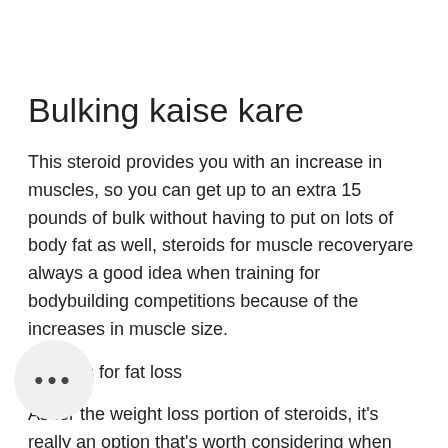Bulking kaise kare
This steroid provides you with an increase in muscles, so you can get up to an extra 15 pounds of bulk without having to put on lots of body fat as well, steroids for muscle recoveryare always a good idea when training for bodybuilding competitions because of the increases in muscle size.
Steroids for fat loss
As for the weight loss portion of steroids, it's really an option that's worth considering when you're trying to gain muscle mass and you're in the stage of your muscle gains where you can start to really pack on a few extra pounds if you're doing these diets, bodybuilding supplements and lots.